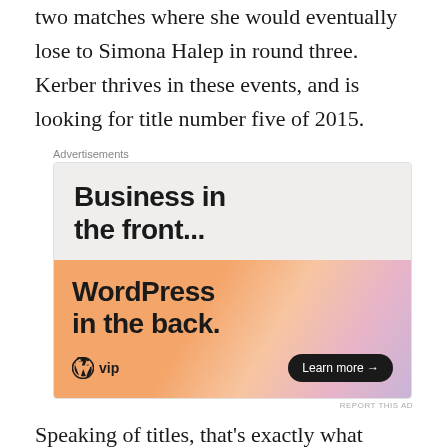two matches where she would eventually lose to Simona Halep in round three. Kerber thrives in these events, and is looking for title number five of 2015.
[Figure (other): WordPress VIP advertisement banner with text 'Business in the front... WordPress in the back.' and a 'Learn more' button.]
Speaking of titles, that's exactly what Bencic went to claim in Toronto yesterday. Following her maiden victory in Eastbourne, the Swiss sensation has now captured her